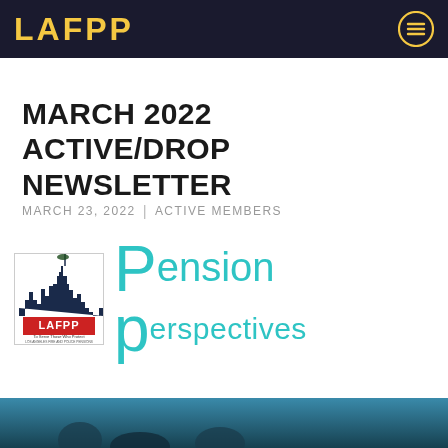LAFPP
MARCH 2022 ACTIVE/DROP NEWSLETTER
MARCH 23, 2022 | ACTIVE MEMBERS
[Figure (logo): LAFPP Pension Perspectives logo — LAFPP seal on left with city skyline graphic and 'To Serve Those Who Protect / Los Angeles Fire and Police Pensions' text, next to large teal 'Pension Perspectives' text]
[Figure (photo): Partially visible photo at bottom of page with dark teal/blue tones, appears to be a person or group photograph]